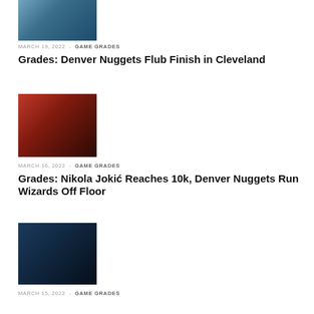[Figure (photo): Basketball players, partially visible, top of page]
MARCH 19, 2022 - GAME GRADES
Grades: Denver Nuggets Flub Finish in Cleveland
[Figure (photo): Two Denver Nuggets players (#15 and #50) high-fiving on court]
MARCH 16, 2022 - GAME GRADES
Grades: Nikola Jokić Reaches 10k, Denver Nuggets Run Wizards Off Floor
[Figure (photo): Basketball player in Denver Nuggets uniform dribbling against defender]
MARCH 15, 2022 - GAME GRADES